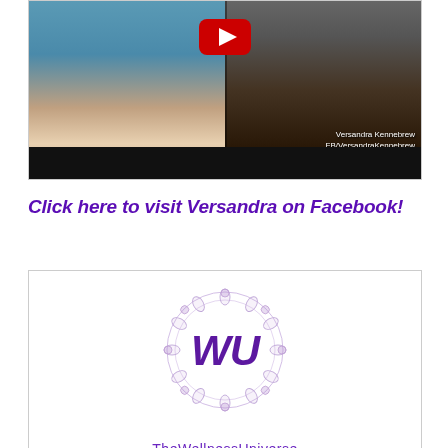[Figure (screenshot): Video thumbnail showing two women smiling side by side in a split-screen video call, with a YouTube play button overlay in the center. Text overlay reads 'Versandra Kennebrew' and 'FB/VersandraKennebrew' in the bottom-right corner.]
Click here to visit Versandra on Facebook!
[Figure (logo): TheWellnessUniverse logo: a circular mandala/snowflake decorative border in light purple/lavender with 'WU' in large bold dark purple italic text in the center. Below the logo circle is the text 'TheWellnessUniverse' in purple.]